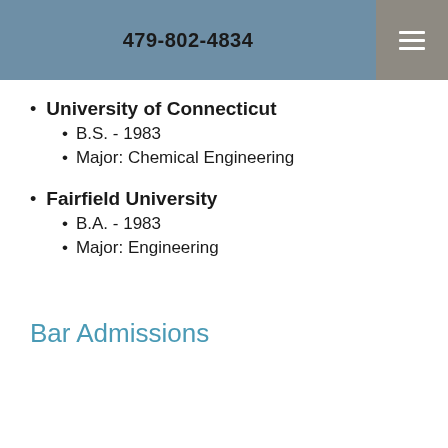479-802-4834
University of Connecticut
B.S. - 1983
Major: Chemical Engineering
Fairfield University
B.A. - 1983
Major: Engineering
Bar Admissions